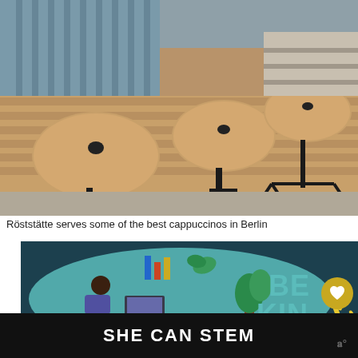[Figure (photo): Outdoor cafe seating with round wooden tables and a wooden bench against a slatted wall, metal table bases visible, stone pavement area]
Röststätte serves some of the best cappuccinos in Berlin
[Figure (illustration): Advertisement illustration showing a woman working at a desk with laptop, decorative plants and items, text reads BE KIND ONLINE, campaign SHE CAN STEM]
306
WHAT'S NEXT → 2019 Guide to the Best Ber...
SHE CAN STEM